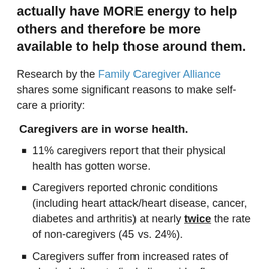actually have MORE energy to help others and therefore be more available to help those around them.
Research by the Family Caregiver Alliance shares some significant reasons to make self-care a priority:
Caregivers are in worse health.
11% caregivers report that their physical health has gotten worse.
Caregivers reported chronic conditions (including heart attack/heart disease, cancer, diabetes and arthritis) at nearly twice the rate of non-caregivers (45 vs. 24%).
Caregivers suffer from increased rates of physical ailments (including acid reflux, headaches, and pain/aching), increased tendency to develop serious